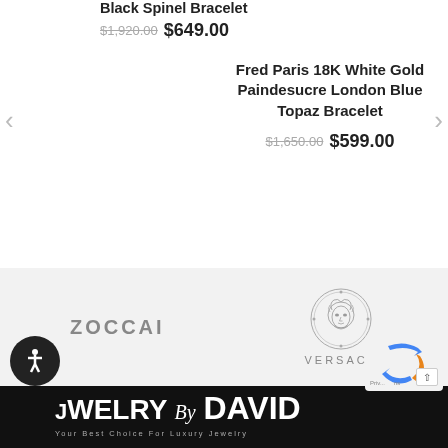Black Spinel Bracelet
$1,920.00 $649.00
Fred Paris 18K White Gold Paindesucre London Blue Topaz Bracelet
$1,650.00 $599.00
[Figure (logo): ZOCCAI brand text logo in gray letters]
[Figure (logo): Versace Medusa head circular medallion logo with VERSACE text below]
[Figure (logo): Jewelry by David footer logo in white on black background]
Your Best Choice For Luxury Jewelry